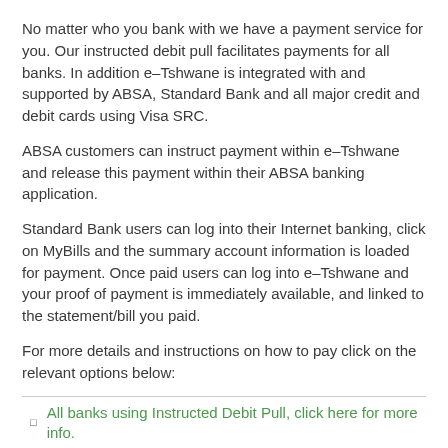No matter who you bank with we have a payment service for you. Our instructed debit pull facilitates payments for all banks. In addition e-Tshwane is integrated with and supported by ABSA, Standard Bank and all major credit and debit cards using Visa SRC.
ABSA customers can instruct payment within e-Tshwane and release this payment within their ABSA banking application.
Standard Bank users can log into their Internet banking, click on MyBills and the summary account information is loaded for payment. Once paid users can log into e-Tshwane and your proof of payment is immediately available, and linked to the statement/bill you paid.
For more details and instructions on how to pay click on the relevant options below:
All banks using Instructed Debit Pull, click here for more info.
Absa Bank clients click here for more info.
Standard Bank clients click here for more info.
Visa SRC click here for more info.